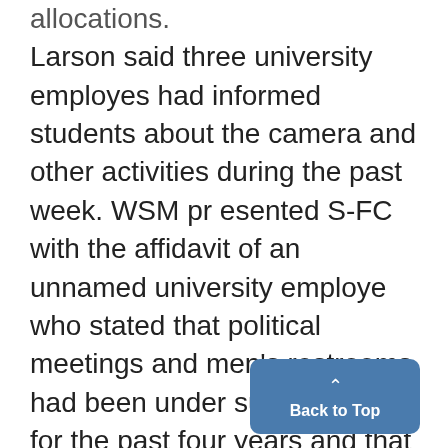allocations. Larson said three university employes had informed students about the camera and other activities during the past week. WSM pr esented S-FC with the affidavit of an unnamed university employe who stated that political meetings and men's restrooms had been under surveillance for the past four years and that keeping student files has been "official" university policy. 'No Camera Now'